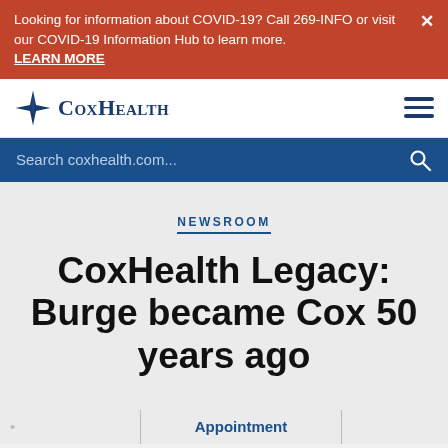Looking for information about COVID-19? Call 269-INFO or visit our COVID-19 Information Hub to learn more. LEARN MORE
[Figure (logo): CoxHealth logo with four-pointed star and text 'CoxHealth']
Search coxhealth.com...
NEWSROOM
CoxHealth Legacy: Burge became Cox 50 years ago
Appointment